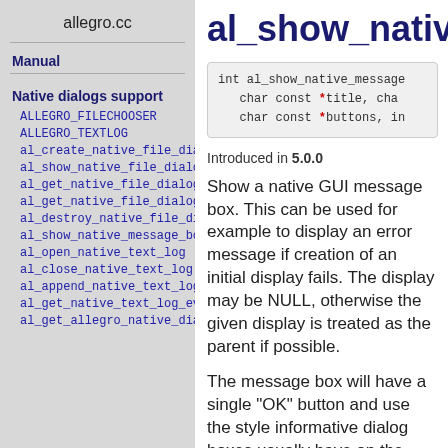allegro.cc
Manual
Native dialogs support
ALLEGRO_FILECHOOSER
ALLEGRO_TEXTLOG
al_create_native_file_dialog
al_show_native_file_dialog
al_get_native_file_dialog_count
al_get_native_file_dialog_path
al_destroy_native_file_dialog
al_show_native_message_box
al_open_native_text_log
al_close_native_text_log
al_append_native_text_log
al_get_native_text_log_event_source
al_get_allegro_native_dialog_version
al_show_native_message_box
int al_show_native_message_box(
   char const *title, char ...
   char const *buttons, in...
Introduced in 5.0.0
Show a native GUI message box. This can be used for example to display an error message if creation of an initial display fails. The display may be NULL, otherwise the given display is treated as the parent if possible.
The message box will have a single "OK" button and use the style informative dialog boxes usually have on the native system. If the